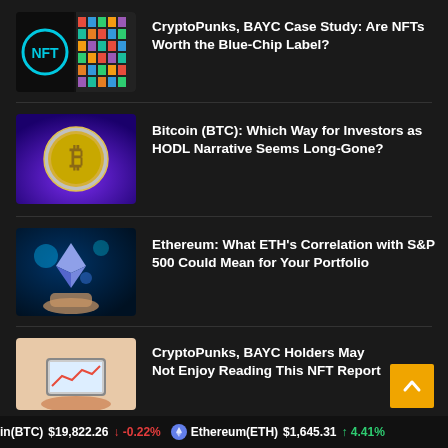[Figure (illustration): NFT logo with colorful pixel art characters on dark background]
CryptoPunks, BAYC Case Study: Are NFTs Worth the Blue-Chip Label?
[Figure (illustration): Bitcoin coin on purple/blue background]
Bitcoin (BTC): Which Way for Investors as HODL Narrative Seems Long-Gone?
[Figure (illustration): Ethereum diamond logo holographic image with hand]
Ethereum: What ETH’s Correlation with S&P 500 Could Mean for Your Portfolio
[Figure (illustration): Hand holding phone showing NFT data]
CryptoPunks, BAYC Holders May Not Enjoy Reading This NFT Report
in(BTC) $19,822.26 ↓ -0.22% Ethereum(ETH) $1,645.31 ↑ 4.41%